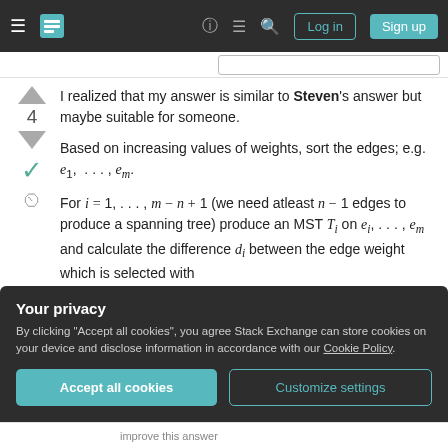Stack Exchange navigation bar with Log in and Sign up buttons
I realized that my answer is similar to Steven's answer but maybe suitable for someone.
Based on increasing values of weights, sort the edges; e.g. e_1, ..., e_m.
For i = 1, ..., m − n + 1 (we need atleast n − 1 edges to produce a spanning tree) produce an MST T_i on e_i, ..., e_m and calculate the difference d_i between the edge weight which is selected with
Your privacy
By clicking "Accept all cookies", you agree Stack Exchange can store cookies on your device and disclose information in accordance with our Cookie Policy.
improve this answer